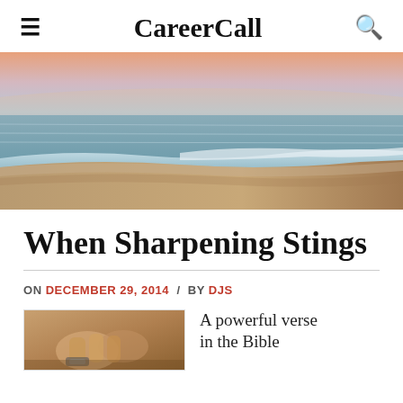CareerCall
[Figure (photo): Coastal beach scene at sunset with gentle ocean waves washing onto sandy shore, warm pink and orange sky in background]
When Sharpening Stings
ON DECEMBER 29, 2014 / BY DJS
[Figure (photo): Close-up photo of hands, appears to show someone working with tools or writing]
A powerful verse in the Bible